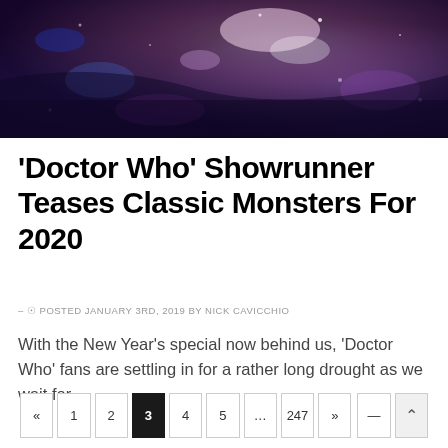[Figure (photo): Abstract colorful underwater or cosmic scene with purple, blue, red and white tones, used as a hero image for the article.]
'Doctor Who' Showrunner Teases Classic Monsters For 2020
– ⊙ POSTED JANUARY 3RD, 2019 BY NICK CAVICCHIO
With the New Year's special now behind us, 'Doctor Who' fans are settling in for a rather long drought as we wait for…
« 1 2 3 4 5 … 247 »